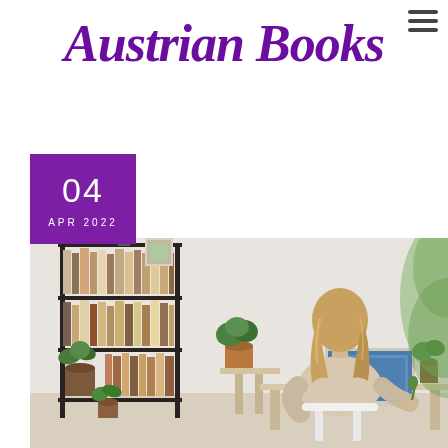☰
Austrian Books
04
APR 2022
[Figure (photo): Woman with blonde hair sitting at a desk with a laptop, viewed from behind, next to a dark metal bookshelf filled with books and plants. Home office setting with warm neutral tones.]